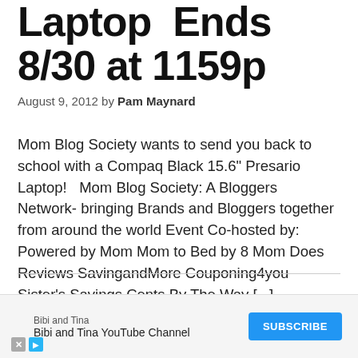Laptop Ends 8/30 at 1159p
August 9, 2012 by Pam Maynard
Mom Blog Society wants to send you back to school with a Compaq Black 15.6" Presario Laptop!   Mom Blog Society: A Bloggers Network- bringing Brands and Bloggers together from around the world Event Co-hosted by: Powered by Mom Mom to Bed by 8 Mom Does Reviews SavingandMore Couponing4you Sister's Savings Cents By The Way [...]
« Previous Page
Next Page »
[Figure (other): Advertisement banner: Bibi and Tina YouTube Channel with Subscribe button]